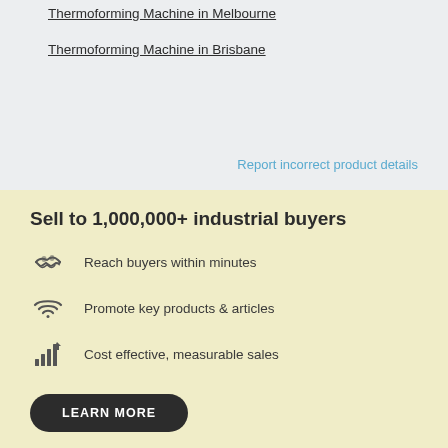Thermoforming Machine in Melbourne
Thermoforming Machine in Brisbane
Report incorrect product details
Sell to 1,000,000+ industrial buyers
Reach buyers within minutes
Promote key products & articles
Cost effective, measurable sales
LEARN MORE